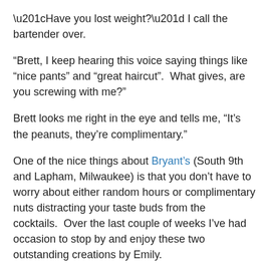“Have you lost weight?” I call the bartender over.
“Brett, I keep hearing this voice saying things like “nice pants” and “great haircut”.  What gives, are you screwing with me?”
Brett looks me right in the eye and tells me, “It’s the peanuts, they’re complimentary.”
One of the nice things about Bryant’s (South 9th and Lapham, Milwaukee) is that you don’t have to worry about either random hours or complimentary nuts distracting your taste buds from the cocktails.  Over the last couple of weeks I’ve had occasion to stop by and enjoy these two outstanding creations by Emily.
First is the Glamour Shot, pictured above.  When Emily asked what I was in the mood for I quickly answered gin